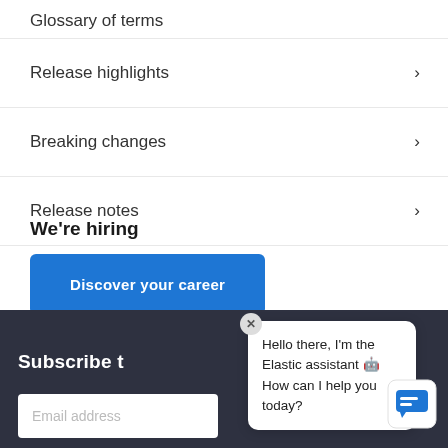Glossary of terms
Release highlights
Breaking changes
Release notes
We're hiring
Discover your career
Subscribe t
Email address
Hello there, I'm the Elastic assistant 🤖 How can I help you today?